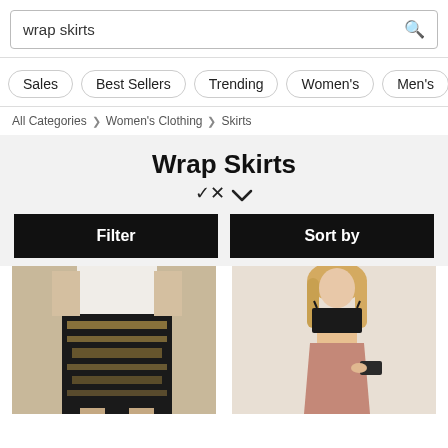wrap skirts
Sales
Best Sellers
Trending
Women's
Men's
All Categories > Women's Clothing > Skirts
Wrap Skirts
[Figure (screenshot): Filter button - black rectangle with white text 'Filter']
[Figure (screenshot): Sort by button - black rectangle with white text 'Sort by']
[Figure (photo): Woman wearing a patterned black and gold mini wrap skirt with a white top]
[Figure (photo): Woman wearing a dusty rose/mauve wrap skirt with a black lace crop top, holding a clutch]